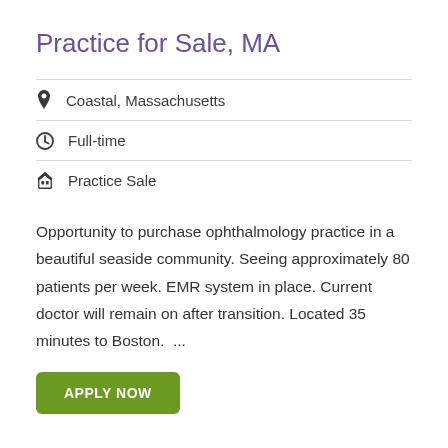Practice for Sale, MA
📍 Coastal, Massachusetts
🕐 Full-time
🏷 Practice Sale
Opportunity to purchase ophthalmology practice in a beautiful seaside community. Seeing approximately 80 patients per week. EMR system in place. Current doctor will remain on after transition. Located 35 minutes to Boston.  ...
APPLY NOW